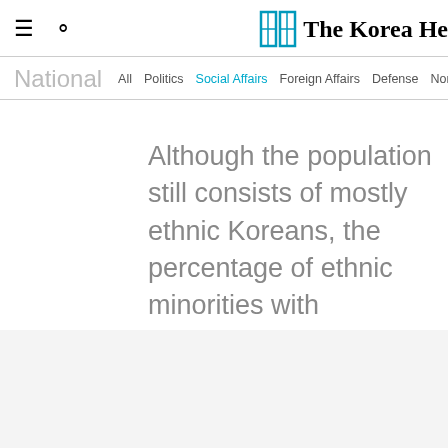The Korea Herald - navigation header with hamburger menu, search icon, and logo
National — All  Politics  Social Affairs  Foreign Affairs  Defense  North Korea  Hw…
Although the population still consists of mostly ethnic Koreans, the percentage of ethnic minorities with